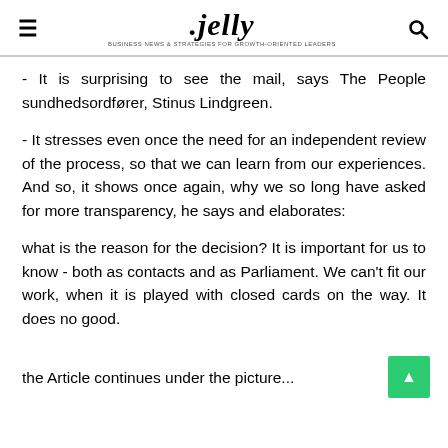≡ .jelly Q
- It is surprising to see the mail, says The People sundhedsordfører, Stinus Lindgreen.
- It stresses even once the need for an independent review of the process, so that we can learn from our experiences. And so, it shows once again, why we so long have asked for more transparency, he says and elaborates:
what is the reason for the decision? It is important for us to know - both as contacts and as Parliament. We can't fit our work, when it is played with closed cards on the way. It does no good.
the Article continues under the picture...